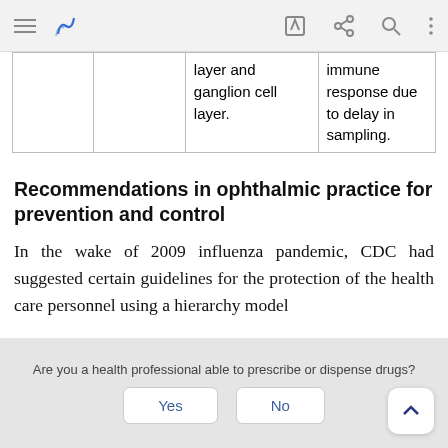App navigation bar with menu, bookmark, edit, share, search, and more icons
|  |  | layer and ganglion cell layer. | immune response due to delay in sampling. |
Recommendations in ophthalmic practice for prevention and control
In the wake of 2009 influenza pandemic, CDC had suggested certain guidelines for the protection of the health care personnel using a hierarchy model
Are you a health professional able to prescribe or dispense drugs?
Yes
No